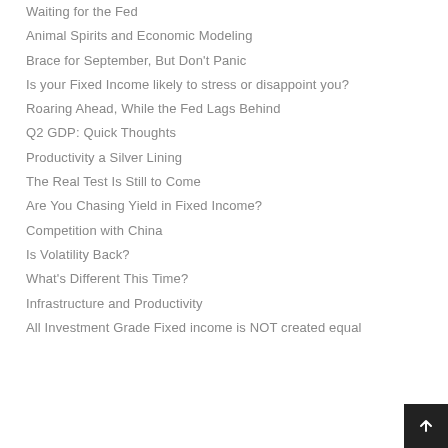Waiting for the Fed
Animal Spirits and Economic Modeling
Brace for September, But Don't Panic
Is your Fixed Income likely to stress or disappoint you?
Roaring Ahead, While the Fed Lags Behind
Q2 GDP: Quick Thoughts
Productivity a Silver Lining
The Real Test Is Still to Come
Are You Chasing Yield in Fixed Income?
Competition with China
Is Volatility Back?
What's Different This Time?
Infrastructure and Productivity
All Investment Grade Fixed income is NOT created equal